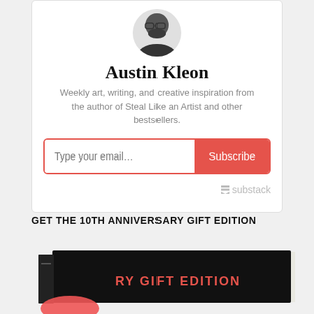[Figure (illustration): Circular avatar photo of Austin Kleon, a man with glasses and a beard, shown in black and white]
Austin Kleon
Weekly art, writing, and creative inspiration from the author of Steal Like an Artist and other bestsellers.
[Figure (screenshot): Email subscription form with 'Type your email...' input field and red 'Subscribe' button, with Substack logo in bottom right]
GET THE 10TH ANNIVERSARY GIFT EDITION
[Figure (photo): A book shown at an angle — appears to be a 10th Anniversary Gift Edition book with black cover and orange/red design elements showing text 'RY GIFT EDITION']